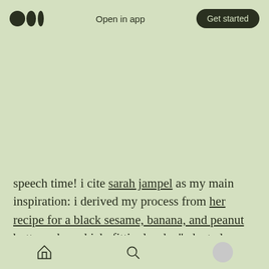Open in app | Get started
speech time! i cite sarah jampel as my main inspiration: i derived my process from her recipe for a black sesame, banana, and peanut butter cake, which, fittingly, she “adapted heavily” from yet another fruity black sesame cake recipe. i credit kristina razon for tipping me off to the